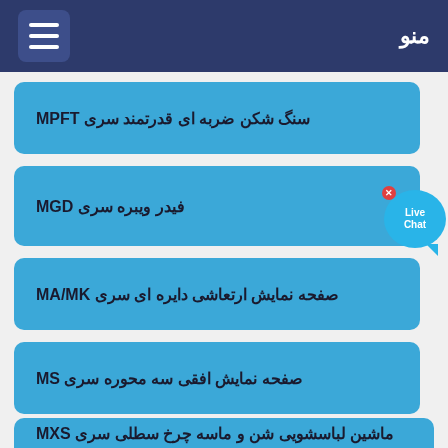منو
سنگ شکن ضربه ای قدرتمند سری MPFT
فیدر ویبره سری MGD
صفحه نمایش ارتعاشی دایره ای سری MA/MK
صفحه نمایش افقی سه محوره سری MS
ماشین لباسشویی شن و ماسه چرخ سطلی سری MXS